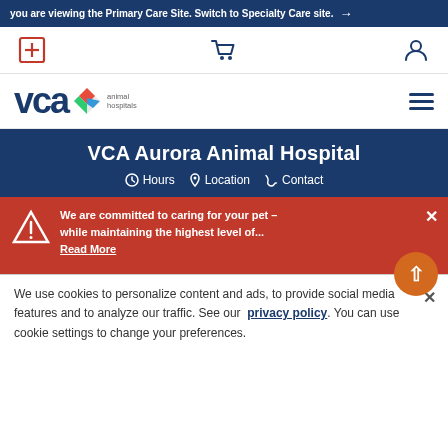you are viewing the Primary Care Site. Switch to Specialty Care site. →
[Figure (screenshot): Utility bar with hospital cross icon, shopping cart icon, and user/account icon]
[Figure (logo): VCA Animal Hospitals logo with colorful diamond shape and hamburger menu icon]
VCA Aurora Animal Hospital
Hours   Location   Contact
We are committed to caring for your pet – while maintaining the highest level of... Read More
We use cookies to personalize content and ads, to provide social media features and to analyze our traffic. See our privacy policy. You can use cookie settings to change your preferences.